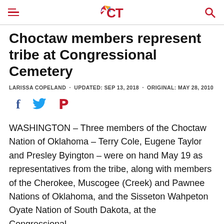ICT
Choctaw members represent tribe at Congressional Cemetery
LARISSA COPELAND · UPDATED: SEP 13, 2018 · ORIGINAL: MAY 28, 2010
[Figure (other): Social media share icons: Facebook (f), Twitter (bird), Pinterest (P)]
WASHINGTON – Three members of the Choctaw Nation of Oklahoma – Terry Cole, Eugene Taylor and Presley Byington – were on hand May 19 as representatives from the tribe, along with members of the Cherokee, Muscogee (Creek) and Pawnee Nations of Oklahoma, and the Sisseton Wahpeton Oyate Nation of South Dakota, at the Congressional